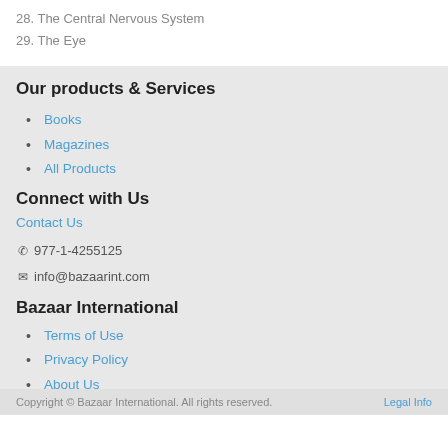28. The Central Nervous System
29. The Eye
Our products & Services
Books
Magazines
All Products
Connect with Us
Contact Us
977-1-4255125
info@bazaarint.com
Bazaar International
Terms of Use
Privacy Policy
About Us
Copyright © Bazaar International. All rights reserved.    Legal Info